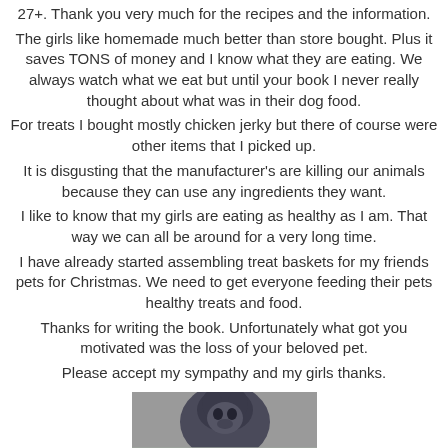27+. Thank you very much for the recipes and the information.
The girls like homemade much better than store bought. Plus it saves TONS of money and I know what they are eating. We always watch what we eat but until your book I never really thought about what was in their dog food.
For treats I bought mostly chicken jerky but there of course were other items that I picked up.
It is disgusting that the manufacturer's are killing our animals because they can use any ingredients they want.
I like to know that my girls are eating as healthy as I am. That way we can all be around for a very long time.
I have already started assembling treat baskets for my friends pets for Christmas. We need to get everyone feeding their pets healthy treats and food.
Thanks for writing the book. Unfortunately what got you motivated was the loss of your beloved pet.
Please accept my sympathy and my girls thanks.
[Figure (photo): A dog photo at the bottom of the page, partially visible, showing a dark-colored dog on a light background.]